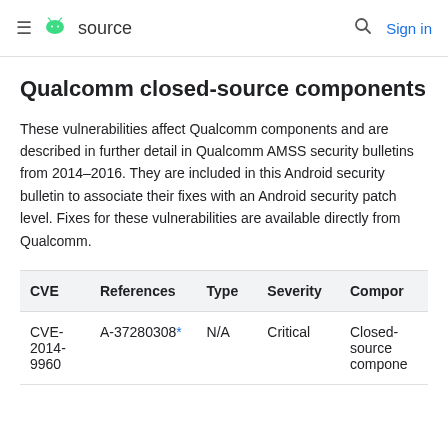≡ android source  🔍 Sign in
Qualcomm closed-source components
These vulnerabilities affect Qualcomm components and are described in further detail in Qualcomm AMSS security bulletins from 2014–2016. They are included in this Android security bulletin to associate their fixes with an Android security patch level. Fixes for these vulnerabilities are available directly from Qualcomm.
| CVE | References | Type | Severity | Component |
| --- | --- | --- | --- | --- |
| CVE-2014-9960 | A-37280308* | N/A | Critical | Closed-source component |